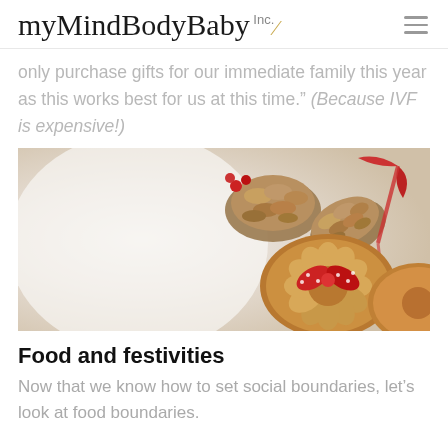myMindBodyBaby Inc.
only purchase gifts for our immediate family this year as this works best for us at this time." (Because IVF is expensive!)
[Figure (photo): Holiday decorations with pine cones and a gingerbread cookie decorated with a red polka-dot ribbon bow on a white snowy background]
Food and festivities
Now that we know how to set social boundaries, let's look at food boundaries.